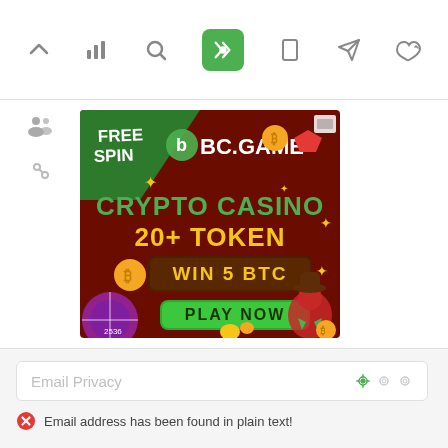[Figure (screenshot): Top navigation toolbar with icons: chevron up, bar chart, search, cursor/pointer (active, green background), mobile phone, send/paper plane, thumbs up]
[Figure (infographic): BC.GAME crypto casino advertisement. Dark red background with cartoon western theme. Text: FREE SPIN, BC.GAME logo, CRYPTO CASINO 20+ TOKEN, WIN 5 BTC, PLAY NOW button (green). Features coins, gems, spin wheel, cartoon cowboy character.]
[Figure (screenshot): Left sidebar with two icons: group/users icon, chain/link icon]
Email Privacy
Email address has been found in plain text!